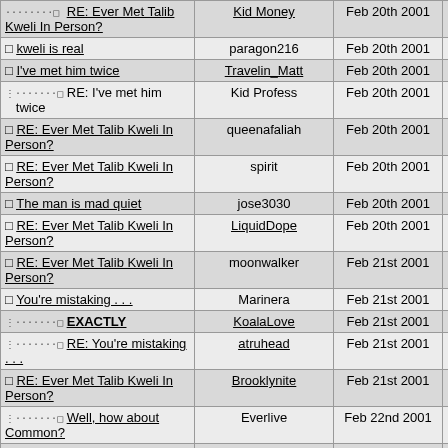| Thread Title | Author | Date | # |
| --- | --- | --- | --- |
| RE: Ever Met Talib Kweli In Person? | Kid Money | Feb 20th 2001 | 29 |
| kweli is real | paragon216 | Feb 20th 2001 | 28 |
| I've met him twice | Travelin_Matt | Feb 20th 2001 | 30 |
| RE: I've met him twice | Kid Profess | Feb 20th 2001 | 31 |
| RE: Ever Met Talib Kweli In Person? | queenafaliah | Feb 20th 2001 | 32 |
| RE: Ever Met Talib Kweli In Person? | spirit | Feb 20th 2001 | 33 |
| The man is mad quiet | jose3030 | Feb 20th 2001 | 34 |
| RE: Ever Met Talib Kweli In Person? | LiquidDope | Feb 20th 2001 | 35 |
| RE: Ever Met Talib Kweli In Person? | moonwalker | Feb 21st 2001 | 36 |
| You're mistaking . . . | Marinera | Feb 21st 2001 | 37 |
| EXACTLY | KoalaLove | Feb 21st 2001 | 38 |
| RE: You're mistaking . . . | atruhead | Feb 21st 2001 | 40 |
| RE: Ever Met Talib Kweli In Person? | Brooklynite | Feb 21st 2001 | 39 |
| Well, how about Common? | Everlive | Feb 22nd 2001 | 41 |
| he's a darling | nebt_het | Feb 22nd 2001 | 42 |
| RE: Ever Met Talib Kweli In Person? | P is still free | Feb 22nd 2001 | 43 |
| yeah...unfortunatley | SoulOne | Feb 22nd 2001 | 44 |